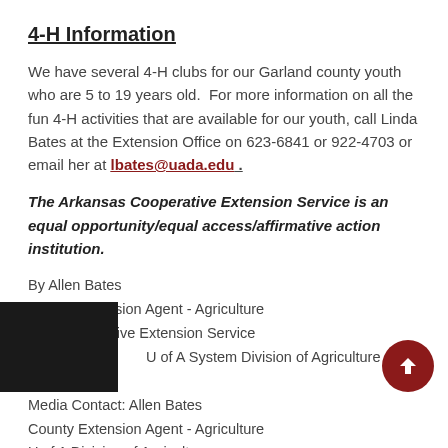4-H Information
We have several 4-H clubs for our Garland county youth who are 5 to 19 years old.  For more information on all the fun 4-H activities that are available for our youth, call Linda Bates at the Extension Office on 623-6841 or 922-4703 or email her at lbates@uada.edu .
The Arkansas Cooperative Extension Service is an equal opportunity/equal access/affirmative action institution.
By Allen Bates
County Extension Agent - Agriculture
The Cooperative Extension Service
U of A System Division of Agriculture
Media Contact: Allen Bates
County Extension Agent - Agriculture
U of A Division of Agriculture